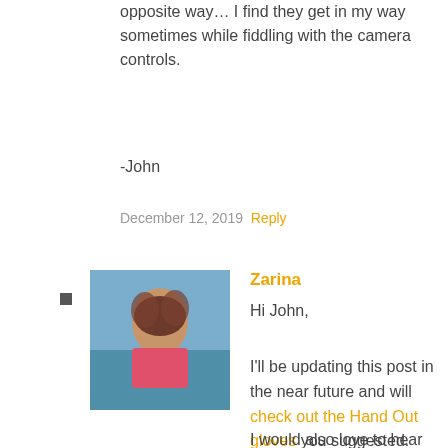opposite way… I find they get in my way sometimes while fiddling with the camera controls.
-John
December 12, 2019  Reply
[Figure (photo): Profile photo of Zarina, a young woman with long brown hair wearing a pink top, outdoors near water.]
Zarina
Hi John,
I'll be updating this post in the near future and will check out the Hand Out gloves you suggested. Thank you very much for your feedback!
I would also love to hear from you when you get another pair, especially if it's from this list and